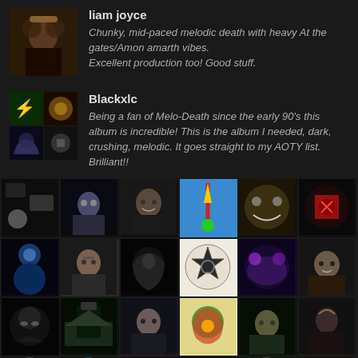liam joyce
Chunky, mid-paced melodic death with heavy At the gates/Amon amarth vibes. Excellent production too! Good stuff.
Blackxlc
Being a fan of Melo-Death since the early 90's this album is incredible! This is the album I needed, dark, crushing, melodic. It goes straight to my AOTY list. Brilliant!!
[Figure (photo): Grid of 18+ user avatar profile pictures in a 6-column layout across 3 rows plus partial 4th row]